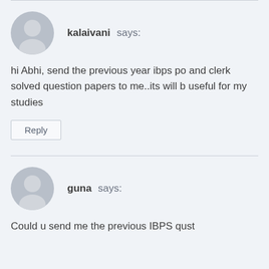kalaivani says:
hi Abhi, send the previous year ibps po and clerk solved question papers to me..its will b useful for my studies
Reply
guna says:
Could u send me the previous IBPS qust